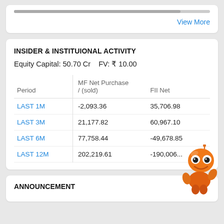View More
INSIDER & INSTITUIONAL ACTIVITY
Equity Capital: 50.70 Cr   FV: ₹ 10.00
| Period | MF Net Purchase / (sold) | FII Net |
| --- | --- | --- |
| LAST 1M | -2,093.36 | 35,706.98 |
| LAST 3M | 21,177.82 | 60,967.10 |
| LAST 6M | 77,758.44 | -49,678.85 |
| LAST 12M | 202,219.61 | -190,006... |
ANNOUNCEMENT
[Figure (illustration): Orange robot/bot mascot character overlaying the bottom-right corner of the page]